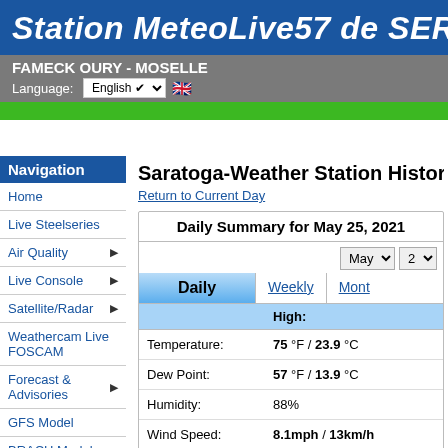Station MeteoLive57 de SEREMAN
FAMECK OURY - MOSELLE
Language: English
Navigation
Home
Live Steelseries
Air Quality
Live Console
Satellite/Radar
Weathercam Live FOSCAM
Forecast & Advisories
GFS Model
BRACH Model
ECMWF Model
Almanac
Saratoga-Weather Station Historical
Return to Current Day
Daily Summary for May 25, 2021
|  | High: |
| --- | --- |
| Temperature: | 75 °F / 23.9 °C |
| Dew Point: | 57 °F / 13.9 °C |
| Humidity: | 88% |
| Wind Speed: | 8.1mph / 13km/h |